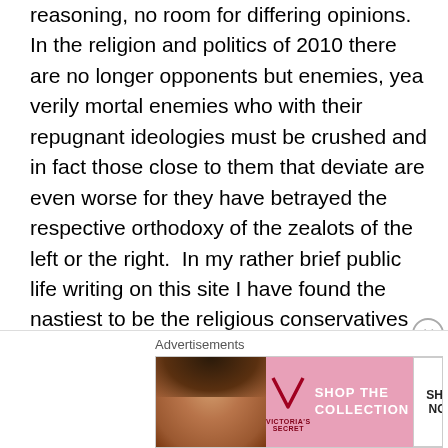reasoning, no room for differing opinions.  In the religion and politics of 2010 there are no longer opponents but enemies, yea verily mortal enemies who with their repugnant ideologies must be crushed and in fact those close to them that deviate are even worse for they have betrayed the respective orthodoxy of the zealots of the left or the right.  In my rather brief public life writing on this site I have found the nastiest to be the religious conservatives that take issue with what I write.  The attitude reminds me of the Moslem extremists, militant Ultra-Orthodox Jews, and Hindu Fundamentalists, all of whom have no tolerance for those different than them and often bent on enforcing their beliefs on those that do not follow their
Advertisements
[Figure (other): Victoria's Secret advertisement banner with model, VS logo, 'SHOP THE COLLECTION' text, and 'SHOP NOW' button]